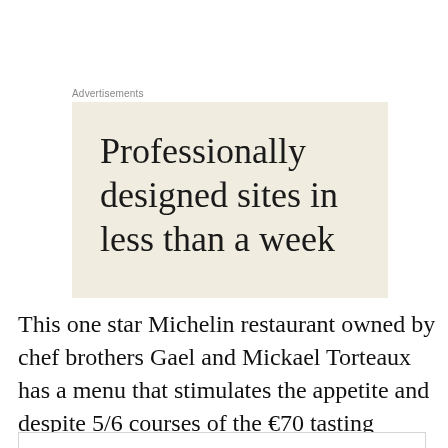Advertisements
[Figure (screenshot): Advertisement banner with cream/beige background and large serif text reading 'Professionally designed sites in less than a week']
This one star Michelin restaurant owned by chef brothers Gael and Mickael Torteaux has a menu that stimulates the appetite and despite 5/6 courses of the €70 tasting menu,
Privacy & Cookies: This site uses cookies. By continuing to use this website, you agree to their use.
To find out more, including how to control cookies, see here: Cookie Policy
Close and accept